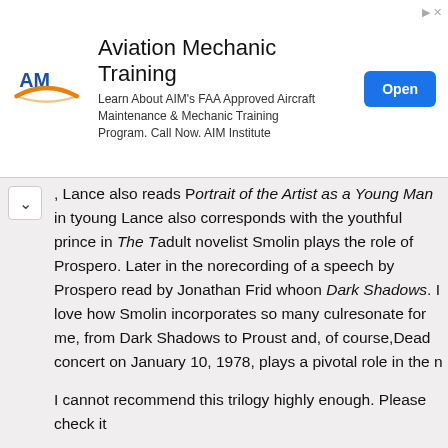[Figure (other): Aviation Mechanic Training advertisement banner with AIM logo, descriptive text, and Open button]
, Lance also reads Portrait of the Artist as a Young Man in t... young Lance also corresponds with the youthful prince in The T... adult novelist Smolin plays the role of Prospero. Later in the no... recording of a speech by Prospero read by Jonathan Frid who ... on Dark Shadows. I love how Smolin incorporates so many cul... resonate for me, from Dark Shadows to Proust and, of course, ... Dead concert on January 10, 1978, plays a pivotal role in the n...
I cannot recommend this trilogy highly enough. Please check it...
Eric Wagner is a writer and teacher who lives in the Los Angele... of An Insider's Guide to Robert Anton Wilson. See also Mr. Wa... Barry Smolin. -- The Management.